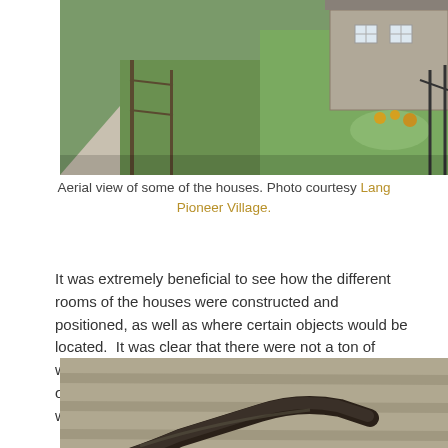[Figure (photo): Aerial view of historic pioneer houses surrounded by green lawn, fence, and garden beds]
Aerial view of some of the houses. Photo courtesy Lang Pioneer Village.
It was extremely beneficial to see how the different rooms of the houses were constructed and positioned, as well as where certain objects would be located.  It was clear that there were not a ton of windows on these types of buildings, and the amount of window glass that we are finding on site line up with this fact.
[Figure (photo): Close-up photo of an old metal tool on weathered wooden planks]